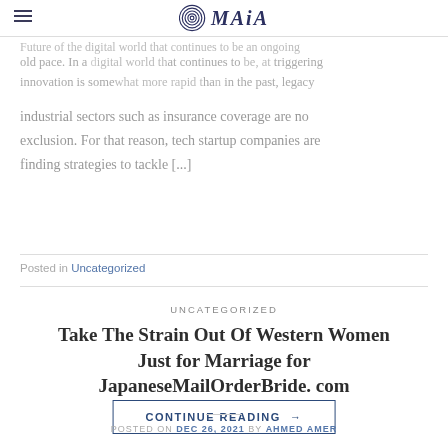OMAIA (logo with hamburger menu)
old pace. In a digital world that continues to be an ongoing innovation is somehow more rapid than in the past, legacy industrial sectors such as insurance coverage are no exclusion. For that reason, tech startup companies are finding strategies to tackle [...]
CONTINUE READING →
Posted in Uncategorized
UNCATEGORIZED
Take The Strain Out Of Western Women Just for Marriage for JapaneseMailOrderBride. com
POSTED ON DEC 26, 2021 BY AHMED AMER